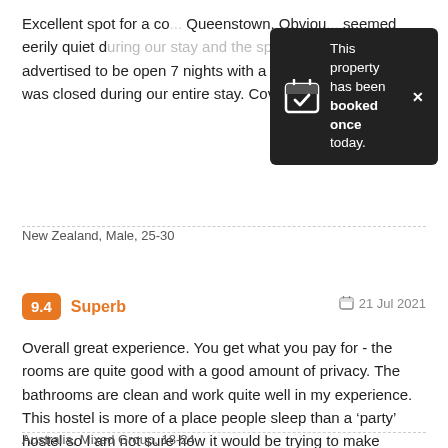Excellent spot for a co... Queenstown. Obviously seemed eerily quiet during our stay and the sports bar that was advertised to be open 7 nights with a happy hour from 4-7 was closed during our entire stay. Covid really sucks
[Figure (infographic): Dark tooltip popup with calendar checkbox icon saying 'This property has been booked once today.' with an X close button]
New Zealand, Male, 25-30
9.4  Superb    21 Jul 2021
Overall great experience. You get what you pay for - the rooms are quite good with a good amount of privacy. The bathrooms are clean and work quite well in my experience. This hostel is more of a place people sleep than a ‘party’ hostel so I am not sure how it would be trying to make friends but that wasn’t a problem for our trip.
Australia, Mixed Group, 18-24